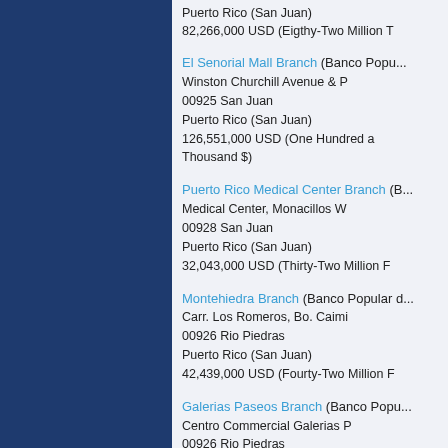Puerto Rico (San Juan)
82,266,000 USD (Eigthy-Two Million T...
El Senorial Mall Branch (Banco Popu...
Winston Churchill Avenue & P
00925 San Juan
Puerto Rico (San Juan)
126,551,000 USD (One Hundred a... Thousand $)
Puerto Rico Medical Center Branch (B...
Medical Center, Monacillos W
00928 San Juan
Puerto Rico (San Juan)
32,043,000 USD (Thirty-Two Million F...
Montehiedra Branch (Banco Popular d...
Carr. Los Romeros, Bo. Caimi
00926 Rio Piedras
Puerto Rico (San Juan)
42,439,000 USD (Fourty-Two Million F...
Galerias Paseos Branch (Banco Popu...
Centro Commercial Galerias P
00926 Rio Piedras
Puerto Rico (San Juan)
7,287,000 USD (Seven Million Two H...
Parque Escorial Branch (Banco Popu...
Cntro Commercial Parque Esco
00926 Rio Piedras
Puerto Rico (San Juan)
56,205,000 USD (Fifty-Six Million Two...